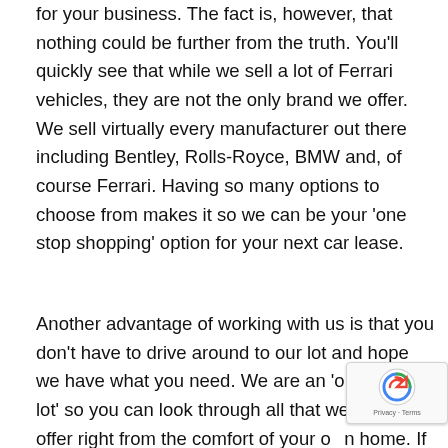for your business. The fact is, however, that nothing could be further from the truth. You'll quickly see that while we sell a lot of Ferrari vehicles, they are not the only brand we offer. We sell virtually every manufacturer out there including Bentley, Rolls-Royce, BMW and, of course Ferrari. Having so many options to choose from makes it so we can be your 'one stop shopping' option for your next car lease.
Another advantage of working with us is that you don't have to drive around to our lot and hope we have what you need. We are an 'online car lot' so you can look through all that we have to offer right from the comfort of your own home. If you want to do a test drive you can give us a call and we can help make the arrangements to get this done.